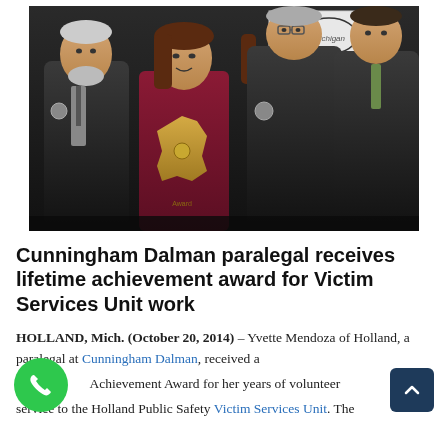[Figure (photo): Four people posing for a photo at an award ceremony. A woman in the center holds a Michigan-shaped wooden award plaque. They are standing in front of a Michigan Sheriffs Association banner. The three men are wearing dark suits, and the woman is wearing a dark red/maroon top.]
Cunningham Dalman paralegal receives lifetime achievement award for Victim Services Unit work
HOLLAND, Mich. (October 20, 2014) – Yvette Mendoza of Holland, a paralegal at Cunningham Dalman, received a Achievement Award for her years of volunteer service to the Holland Public Safety Victim Services Unit. The